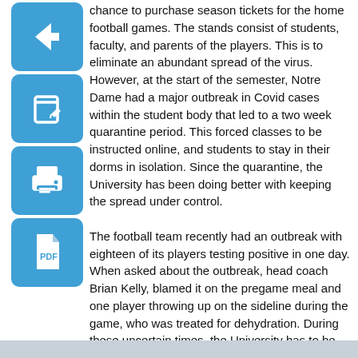chance to purchase season tickets for the home football games. The stands consist of students, faculty, and parents of the players. This is to eliminate an abundant spread of the virus. However, at the start of the semester, Notre Dame had a major outbreak in Covid cases within the student body that led to a two week quarantine period. This forced classes to be instructed online, and students to stay in their dorms in isolation. Since the quarantine, the University has been doing better with keeping the spread under control.

The football team recently had an outbreak with eighteen of its players testing positive in one day. When asked about the outbreak, head coach Brian Kelly, blamed it on the pregame meal and one player throwing up on the sideline during the game, who was treated for dehydration. During these uncertain times, the University has to be extra cautious when making decisions regarding health and safety of players and coaches. The safety of the students and players is the University's top priority during the Pandemic. They are doing everything in their power to continue the semester and season as normal while also making sure everyone is safe and healthy.
[Figure (illustration): Blue rounded square icon with a left-pointing arrow (back/navigation icon)]
[Figure (illustration): Blue rounded square icon with a pencil/edit document icon]
[Figure (illustration): Blue rounded square icon with a printer icon]
[Figure (illustration): Blue rounded square icon with a PDF/file icon]